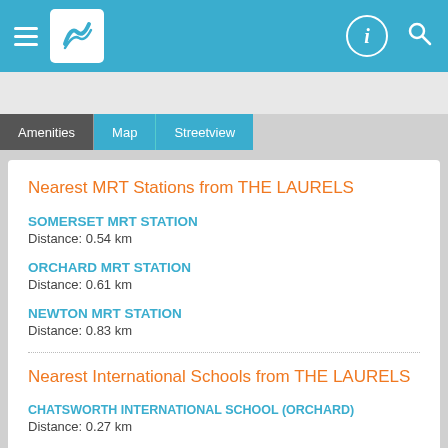Navigation header with logo, hamburger menu, info icon, and search icon
Amenities | Map | Streetview tabs
Nearest MRT Stations from THE LAURELS
SOMERSET MRT STATION
Distance: 0.54 km
ORCHARD MRT STATION
Distance: 0.61 km
NEWTON MRT STATION
Distance: 0.83 km
Nearest International Schools from THE LAURELS
CHATSWORTH INTERNATIONAL SCHOOL (ORCHARD)
Distance: 0.27 km
ISS ELEMENTARY AND MIDDLE SCHOOL...